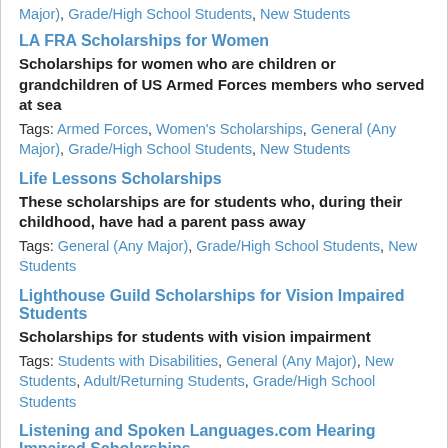Major), Grade/High School Students, New Students
LA FRA Scholarships for Women
Scholarships for women who are children or grandchildren of US Armed Forces members who served at sea
Tags: Armed Forces, Women's Scholarships, General (Any Major), Grade/High School Students, New Students
Life Lessons Scholarships
These scholarships are for students who, during their childhood, have had a parent pass away
Tags: General (Any Major), Grade/High School Students, New Students
Lighthouse Guild Scholarships for Vision Impaired Students
Scholarships for students with vision impairment
Tags: Students with Disabilities, General (Any Major), New Students, Adult/Returning Students, Grade/High School Students
Listening and Spoken Languages.com Hearing Impaired Scholarships